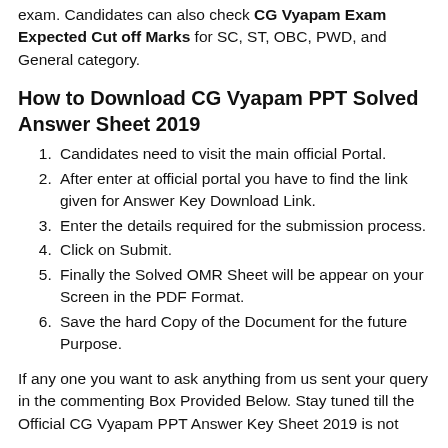exam. Candidates can also check CG Vyapam Exam Expected Cut off Marks for SC, ST, OBC, PWD, and General category.
How to Download CG Vyapam PPT Solved Answer Sheet 2019
Candidates need to visit the main official Portal.
After enter at official portal you have to find the link given for Answer Key Download Link.
Enter the details required for the submission process.
Click on Submit.
Finally the Solved OMR Sheet will be appear on your Screen in the PDF Format.
Save the hard Copy of the Document for the future Purpose.
If any one you want to ask anything from us sent your query in the commenting Box Provided Below. Stay tuned till the Official CG Vyapam PPT Answer Key Sheet 2019 is not